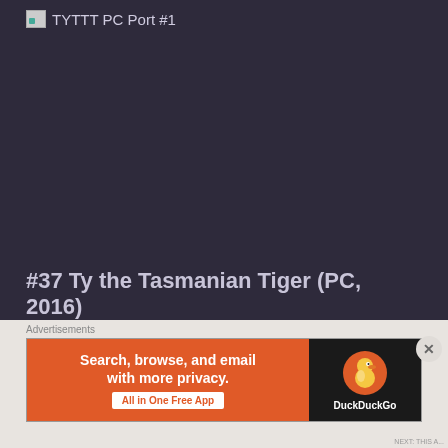TYTTT PC Port #1
#37 Ty the Tasmanian Tiger (PC, 2016)
One of the underrated gems of the PS2/XBOX era, Ty is back on the PC and it looks gorgeous. For those not in the know, Ty the Tasmanian Tiger is a family friendly...
Advertisements
[Figure (screenshot): DuckDuckGo advertisement banner: Search, browse, and email with more privacy. All in One Free App. DuckDuckGo logo on the right.]